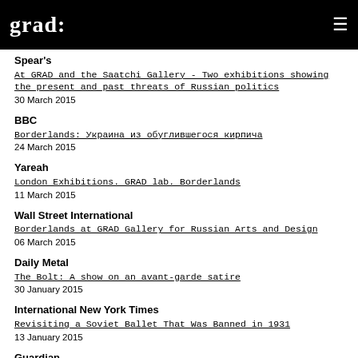grad:
Spear's
At GRAD and the Saatchi Gallery - Two exhibitions showing the present and past threats of Russian politics
30 March 2015
BBC
Borderlands: Украина из обуглившегося кирпича
24 March 2015
Yareah
London Exhibitions. GRAD lab. Borderlands
11 March 2015
Wall Street International
Borderlands at GRAD Gallery for Russian Arts and Design
06 March 2015
Daily Metal
The Bolt: A show on an avant-garde satire
30 January 2015
International New York Times
Revisiting a Soviet Ballet That Was Banned in 1931
13 January 2015
Guardian